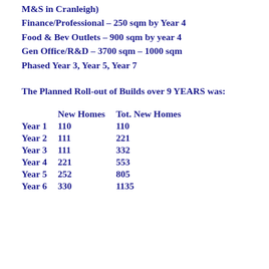M&S in Cranleigh)
Finance/Professional – 250 sqm by Year 4
Food & Bev Outlets – 900 sqm by year 4
Gen Office/R&D – 3700 sqm – 1000 sqm
Phased Year 3, Year 5, Year 7
The Planned Roll-out of Builds over 9 YEARS was:
|  | New Homes | Tot. New Homes |
| --- | --- | --- |
| Year 1 | 110 | 110 |
| Year 2 | 111 | 221 |
| Year 3 | 111 | 332 |
| Year 4 | 221 | 553 |
| Year 5 | 252 | 805 |
| Year 6 | 330 | 1135 |